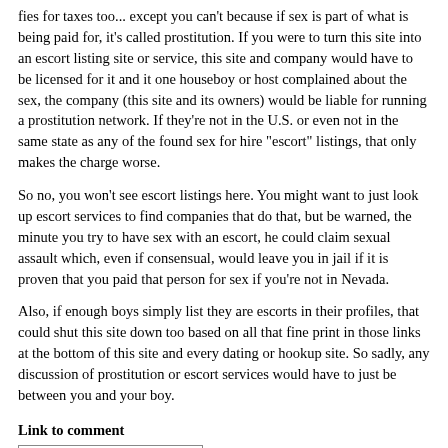fies for taxes too... except you can't because if sex is part of what is being paid for, it's called prostitution. If you were to turn this site into an escort listing site or service, this site and company would have to be licensed for it and it one houseboy or host complained about the sex, the company (this site and its owners) would be liable for running a prostitution network. If they're not in the U.S. or even not in the same state as any of the found sex for hire "escort" listings, that only makes the charge worse.
So no, you won't see escort listings here. You might want to just look up escort services to find companies that do that, but be warned, the minute you try to have sex with an escort, he could claim sexual assault which, even if consensual, would leave you in jail if it is proven that you paid that person for sex if you're not in Nevada.
Also, if enough boys simply list they are escorts in their profiles, that could shut this site down too based on all that fine print in those links at the bottom of this site and every dating or hookup site. So sadly, any discussion of prostitution or escort services would have to just be between you and your boy.
Link to comment
https://www.houseboy.com/fc